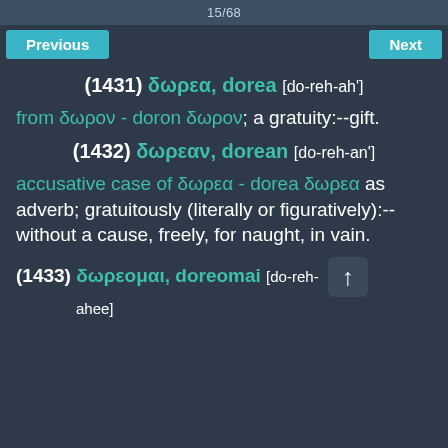15/68
Previous | Next
(1431) δωρεα, dorea [do-reh-ah']
from δωρον - doron δωρον; a gratuity:--gift.
(1432) δωρεαν, dorean [do-reh-an']
accusative case of δωρεα - dorea δωρεα as adverb; gratuitously (literally or figuratively):--without a cause, freely, for naught, in vain.
(1433) δωρεομαι, doreomai [do-reh-ahee]